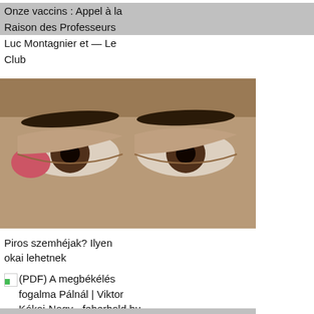Onze vaccins : Appel à la Raison des Professeurs Luc Montagnier et — Le Club
[Figure (photo): Close-up photograph of a person's eyes, with one eyelid appearing red and swollen]
Piros szemhéjak? Ilyen okai lehetnek
(PDF) A megbékélés fogalma Pálnál | Viktor Kókai-Nagy - feherhold.hu
Anti aging svájci börtönőr
[Figure (photo): Clarins skincare product - a gold/cream colored jar of face cream]